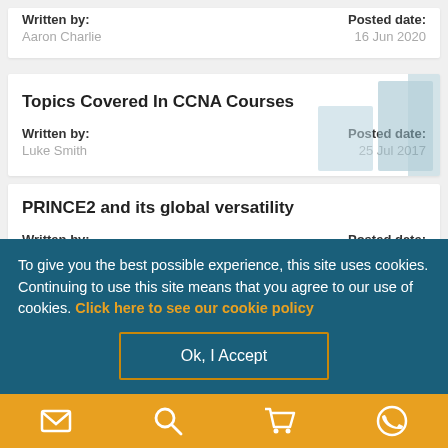Written by: Aaron Charlie | Posted date: 16 Jun 2020
Topics Covered In CCNA Courses
Written by: Luke Smith | Posted date: 25 Jul 2017
PRINCE2 and its global versatility
Written by: | Posted date:
To give you the best possible experience, this site uses cookies. Continuing to use this site means that you agree to our use of cookies. Click here to see our cookie policy
Ok, I Accept
Email | Search | Cart | Phone